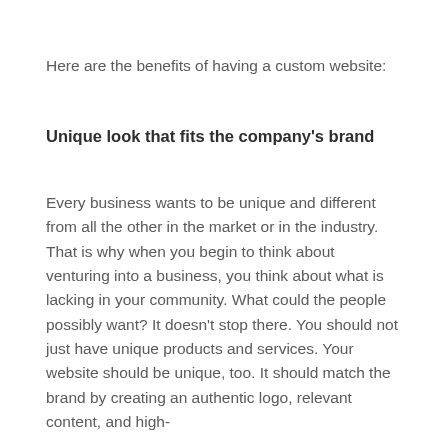Here are the benefits of having a custom website:
Unique look that fits the company's brand
Every business wants to be unique and different from all the other in the market or in the industry. That is why when you begin to think about venturing into a business, you think about what is lacking in your community. What could the people possibly want? It doesn't stop there. You should not just have unique products and services. Your website should be unique, too. It should match the brand by creating an authentic logo, relevant content, and high-